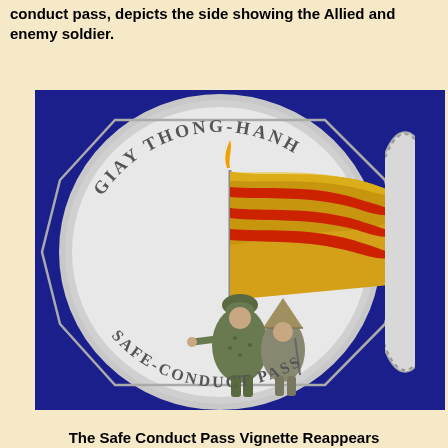conduct pass, depicts the side showing the Allied and enemy soldier.
[Figure (photo): A silver commemorative coin featuring the text 'GIAY THONG-HANH' at the top and 'SAFE-CONDUCT PASS' at the bottom. The coin shows a colorful South Vietnamese flag in gold and red being held aloft, with two soldiers depicted below — an Allied soldier in camouflage pointing, and an enemy soldier beside him. The coin is set against a dark navy blue background, with a partial second coin visible at the right edge.]
The Safe Conduct Pass Vignette Reappears